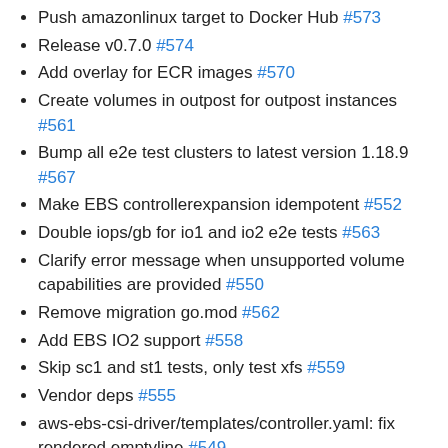Push amazonlinux target to Docker Hub #573
Release v0.7.0 #574
Add overlay for ECR images #570
Create volumes in outpost for outpost instances #561
Bump all e2e test clusters to latest version 1.18.9 #567
Make EBS controllerexpansion idempotent #552
Double iops/gb for io1 and io2 e2e tests #563
Clarify error message when unsupported volume capabilities are provided #550
Remove migration go.mod #562
Add EBS IO2 support #558
Skip sc1 and st1 tests, only test xfs #559
Vendor deps #555
aws-ebs-csi-driver/templates/controller.yaml: fix rendered emptyline #549
Change the base image to debian-base #551
Add arm support #527
Nit: improve flag description #546